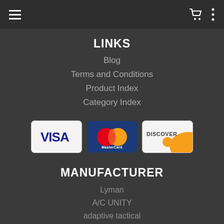Navigation bar with hamburger menu, cart icon, and options icon
LINKS
Blog
Terms and Conditions
Product Index
Category Index
[Figure (other): Payment method icons: VISA, MasterCard, Discover]
MANUFACTURER
Lyman
A/C UNITY
adaptive tactical